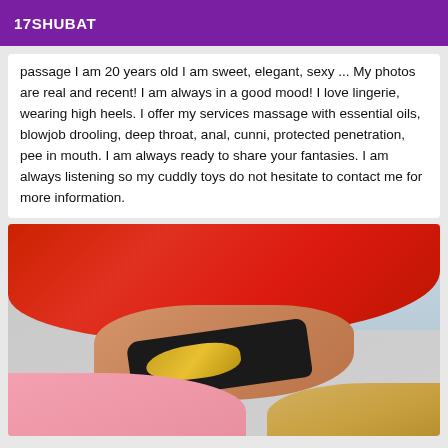17SHUBAT
passage I am 20 years old I am sweet, elegant, sexy ... My photos are real and recent! I am always in a good mood! I love lingerie, wearing high heels. I offer my services massage with essential oils, blowjob drooling, deep throat, anal, cunni, protected penetration, pee in mouth. I am always ready to share your fantasies. I am always listening so my cuddly toys do not hesitate to contact me for more information.
[Figure (photo): Photo showing a person wearing red fabric clothing with a black and gold accessory/bracelet, with pink fabric and blonde hair visible at bottom]